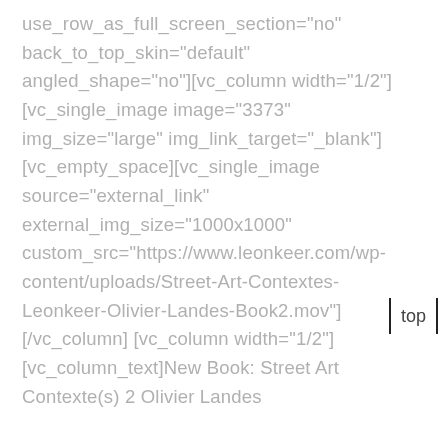use_row_as_full_screen_section="no" back_to_top_skin="default" angled_shape="no"][vc_column width="1/2"][vc_single_image image="3373" img_size="large" onclick="img_link_large" img_link_target="_blank"] [vc_empty_space][vc_single_image source="external_link" external_img_size="1000x1000" custom_src="https://www.leonkeer.com/wp-content/uploads/Street-Art-Contextes-Leonkeer-Olivier-Landes-Book2.mov"][/vc_column] [vc_column width="1/2"] [vc_column_text]New Book: Street Art Contexte(s) 2 Olivier Landes